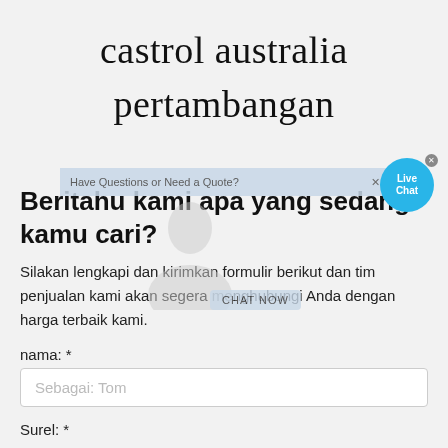castrol australia pertambangan
[Figure (screenshot): Live chat widget bubble with 'Live Chat' text in blue circle, and a banner 'Have Questions or Need a Quote?' with close X button, and a CHAT NOW button overlay with avatar image]
Beritahu kami apa yang sedang kamu cari?
Silakan lengkapi dan kirimkan formulir berikut dan tim penjualan kami akan segera menghubungi Anda dengan harga terbaik kami.
nama: *
Sebagai: Tom
Surel: *